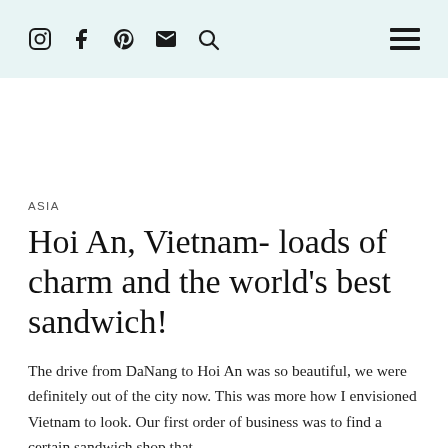Instagram Facebook Pinterest Mail Search [menu]
ASIA
Hoi An, Vietnam- loads of charm and the world's best sandwich!
The drive from DaNang to Hoi An was so beautiful, we were definitely out of the city now. This was more how I envisioned Vietnam to look. Our first order of business was to find a certain sandwich shop that…
MARCH 2, 2015